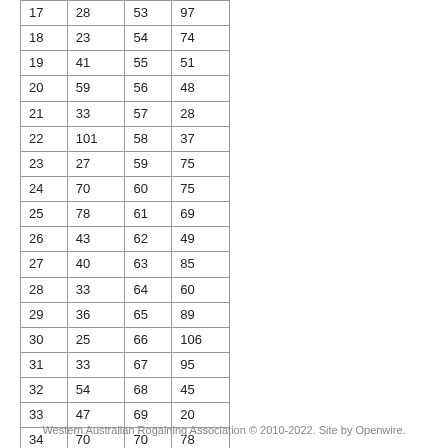| 17 | 28 | 53 | 97 |
| 18 | 23 | 54 | 74 |
| 19 | 41 | 55 | 51 |
| 20 | 59 | 56 | 48 |
| 21 | 33 | 57 | 28 |
| 22 | 101 | 58 | 37 |
| 23 | 27 | 59 | 75 |
| 24 | 70 | 60 | 75 |
| 25 | 78 | 61 | 69 |
| 26 | 43 | 62 | 49 |
| 27 | 40 | 63 | 85 |
| 28 | 33 | 64 | 60 |
| 29 | 36 | 65 | 89 |
| 30 | 25 | 66 | 106 |
| 31 | 33 | 67 | 95 |
| 32 | 54 | 68 | 45 |
| 33 | 47 | 69 | 20 |
| 34 | 70 | 70 | 78 |
| 35 | 116 | 71 | 35 |
| 36 | 41 | 72 | 78 |
Western Australian Rogaining Association © 2010-2022. Site by Openwire.